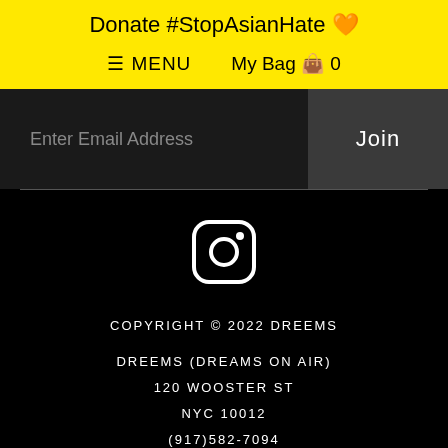Donate #StopAsianHate 🧡
≡ MENU   My Bag 👜 0
Enter Email Address
Join
[Figure (logo): Instagram logo icon in white on black background]
COPYRIGHT © 2022 DREEMS
DREEMS (DREAMS ON AIR)
120 WOOSTER ST
NYC 10012
(917)582-7094